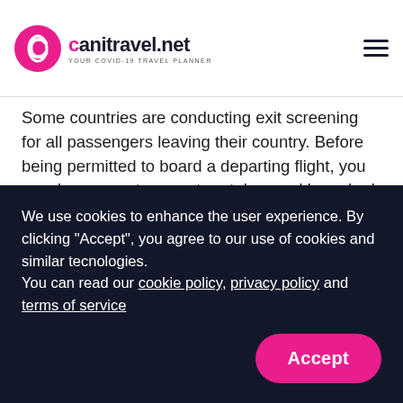canitravel.net YOUR COVID-19 TRAVEL PLANNER
Some countries are conducting exit screening for all passengers leaving their country. Before being permitted to board a departing flight, you may have your temperature taken and be asked questions about your travel history and health.
9. What is the risk of getting Covid-19 on an
We use cookies to enhance the user experience. By clicking "Accept", you agree to our use of cookies and similar tecnologies.
You can read our cookie policy, privacy policy and terms of service
Accept